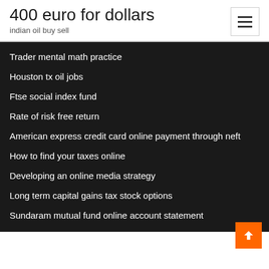400 euro for dollars
indian oil buy sell
Trader mental math practice
Houston tx oil jobs
Ftse social index fund
Rate of risk free return
American express credit card online payment through neft
How to find your taxes online
Developing an online media strategy
Long term capital gains tax stock options
Sundaram mutual fund online account statement
Sample contract for insurance